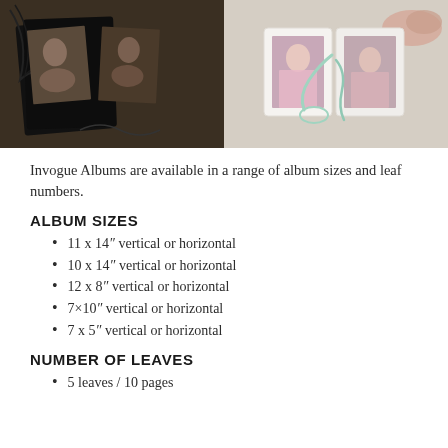[Figure (photo): Two-panel photo: left shows two black-and-white portrait photos of women in a dark folder on a wooden surface; right shows a hand holding an open mini album with photos of a woman in a pink gown, with mint ribbon.]
Invogue Albums are available in a range of album sizes and leaf numbers.
ALBUM SIZES
11 x 14″ vertical or horizontal
10 x 14″ vertical or horizontal
12 x 8″ vertical or horizontal
7×10″ vertical or horizontal
7 x 5″ vertical or horizontal
NUMBER OF LEAVES
5 leaves / 10 pages